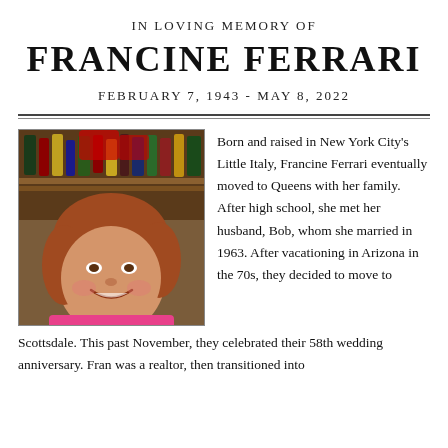IN LOVING MEMORY OF
FRANCINE FERRARI
FEBRUARY 7, 1943 - MAY 8, 2022
[Figure (photo): Portrait photo of Francine Ferrari, a woman with auburn/reddish-brown shoulder-length hair, wearing a bright pink top, smiling, with bottles on shelves visible in the background.]
Born and raised in New York City's Little Italy, Francine Ferrari eventually moved to Queens with her family. After high school, she met her husband, Bob, whom she married in 1963. After vacationing in Arizona in the 70s, they decided to move to Scottsdale. This past November, they celebrated their 58th wedding anniversary. Fran was a realtor, then transitioned into